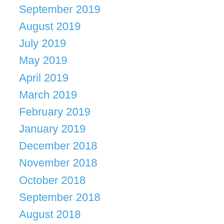September 2019
August 2019
July 2019
May 2019
April 2019
March 2019
February 2019
January 2019
December 2018
November 2018
October 2018
September 2018
August 2018
July 2018
May 2018
April 2018
March 2018
February 2018
January 2018
December 2017